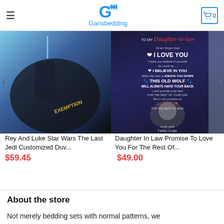Gansbedding
[Figure (photo): Rey And Luke Star Wars The Last Jedi themed bedding/duvet product photo showing characters with lightsabers on a blue background, watermarked]
Rey And Luke Star Wars The Last Jedi Customized Duv...
$59.45
[Figure (photo): Dark blue blanket with wolf and text 'To My Daughter-in-law Never forget that I LOVE YOU I hope you believe in yourself As much as... I BELIEVE IN YOU When life tries to KNOCK YOU DOWN THIS OLD WOLF WILL ALWAYS HAVE YOUR BACK I can't promise to be here FOR THE REST OF YOUR LIFE But I can promise to Love you FOR THE REST OF MINE Love, your Father-in-law']
Daughter In Law Promise To Love You For The Rest Of...
$49.00
About the store
Not merely bedding sets with normal patterns, we